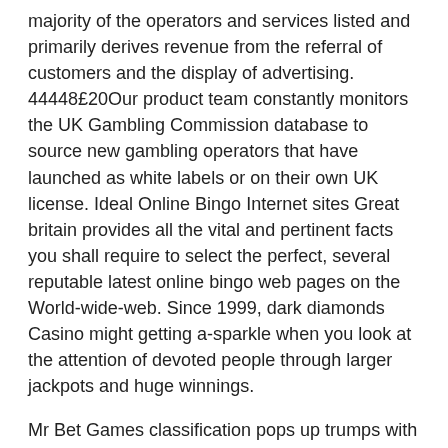majority of the operators and services listed and primarily derives revenue from the referral of customers and the display of advertising. 44448£20Our product team constantly monitors the UK Gambling Commission database to source new gambling operators that have launched as white labels or on their own UK license. Ideal Online Bingo Internet sites Great britain provides all the vital and pertinent facts you shall require to select the perfect, several reputable latest online bingo web pages on the World-wide-web. Since 1999, dark diamonds Casino might getting a-sparkle when you look at the attention of devoted people through larger jackpots and huge winnings.
Mr Bet Games classification pops up trumps with assorted video games like Reside Roulette, Reside Baccarat, On line casino Hold'em and Co. In terms of bets that deal with specifics, you will be able to bet on specific halves and quarters from the game, such as the winner of the first half or the scoring in a quarter. There are also betting markets relating to specific players, such as Receiving Yards, Rushing Yards, Passing TDs, Passing Yards, and Interceptions. There are betting markets that relate to each of the three periods of an ice hockey match.
For a live casino Mr Green has a welcome bonus of 100& up to £50 for a minimum deposit of £20. Free spins enable players to play rounds of games free of charge. Most bonuses consist of both free spins and an